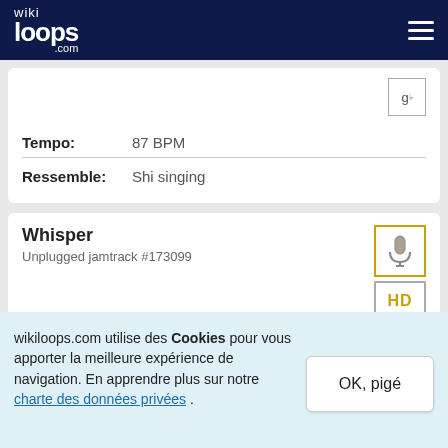wikiloops.com
Tempo: 87 BPM
Ressemble: Shi singing
Whisper
Unplugged jamtrack #173099
wikiloops.com utilise des Cookies pour vous apporter la meilleure expérience de navigation. En apprendre plus sur notre charte des données privées .